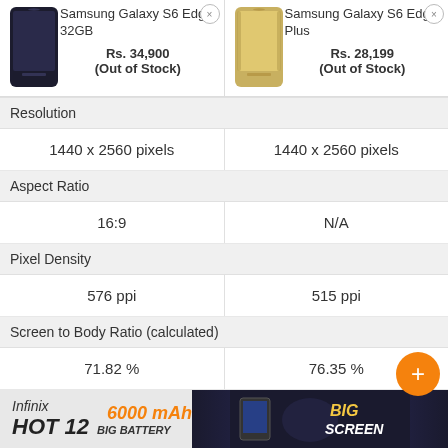| Samsung Galaxy S6 Edge 32GB | Samsung Galaxy S6 Edge Plus |
| --- | --- |
| Rs. 34,900 (Out of Stock) | Rs. 28,199 (Out of Stock) |
| Resolution |  |
| 1440 x 2560 pixels | 1440 x 2560 pixels |
| Aspect Ratio |  |
| 16:9 | N/A |
| Pixel Density |  |
| 576 ppi | 515 ppi |
| Screen to Body Ratio (calculated) |  |
| 71.82 % | 76.35 % |
| Screen Protection |  |
| Corning Gorilla Glass v4 | Corning Gorilla Glass |
| Scratch-resistant glass | Scratch-resistant glass |
[Figure (infographic): Infinix HOT 12 advertisement banner with 6000 mAh Big Battery and BIG SCREEN text]
Infinix HOT 12 — 6000 mAh BIG BATTERY — BIG SCREEN